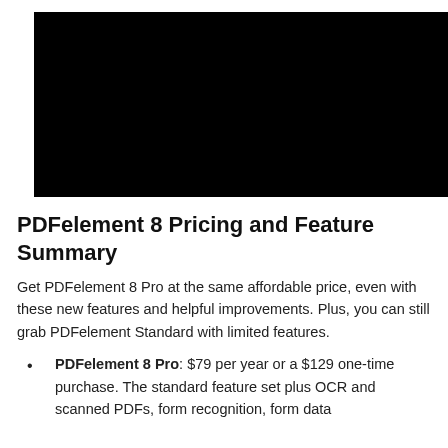[Figure (other): Black rectangular image placeholder at the top of the page]
PDFelement 8 Pricing and Feature Summary
Get PDFelement 8 Pro at the same affordable price, even with these new features and helpful improvements. Plus, you can still grab PDFelement Standard with limited features.
PDFelement 8 Pro: $79 per year or a $129 one-time purchase. The standard feature set plus OCR and scanned PDFs, form recognition, form data